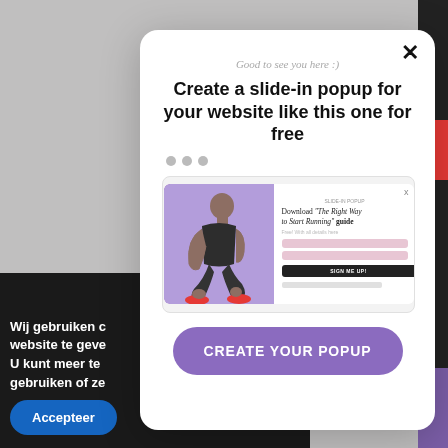Good to see you here :)
Create a slide-in popup for your website like this one for free
[Figure (screenshot): Preview of a slide-in popup showing an athlete tying shoes with a download guide form]
CREATE YOUR POPUP
Wij gebruiken c website te geve U kunt meer te gebruiken of ze
Accepteer